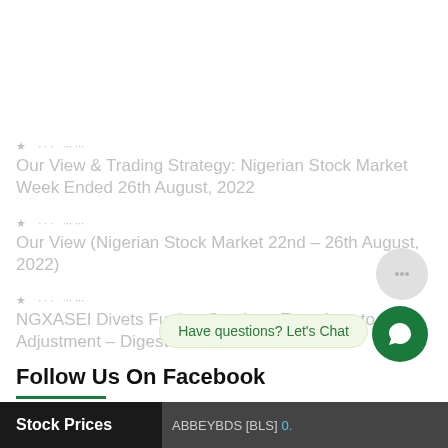Our View & Trading Strategy: Nigerian Stock Market Week Ended 26th August, 2022
Our View (Nigerian Stock Market 22nd – 26th August, 2022)
NGXASEI Divets Further South on Reactions to Rate Adjustment – Digest
Follow Us On Facebook
[Figure (screenshot): Scroll to top button (green rounded square with up arrow), chat bubble (gray circle), chat prompt bubble saying 'Have questions? Let's Chat', and green chat button]
Stock Prices   ABBEYBDS [BLS] 0.